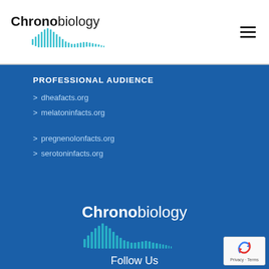[Figure (logo): Chronobiology logo with soundwave/frequency graphic in teal, bold Chrono text and regular biology text]
PROFESSIONAL AUDIENCE
> dheafacts.org
> melatoninfacts.org
> pregnenolonfacts.org
> serotoninfacts.org
[Figure (logo): Chronobiology footer logo in white on dark blue background with teal soundwave graphic]
Follow Us
[Figure (other): Social media icons row: Facebook, Twitter, Pinterest, Instagram in circles]